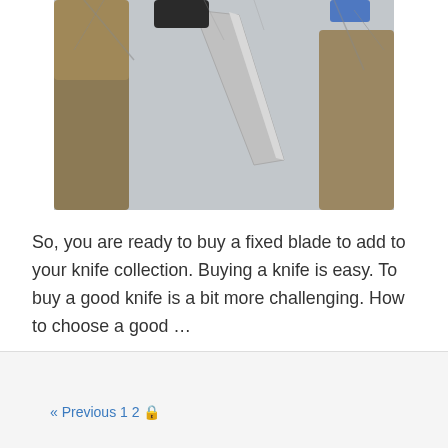[Figure (photo): A fixed blade knife held between tree branches outdoors in a winter setting, with bare trees visible in the background. The knife has a textured black and silver handle and a steel blade.]
So, you are ready to buy a fixed blade to add to your knife collection. Buying a knife is easy. To buy a good knife is a bit more challenging. How to choose a good …
Read more
« Previous 1 2 🔒